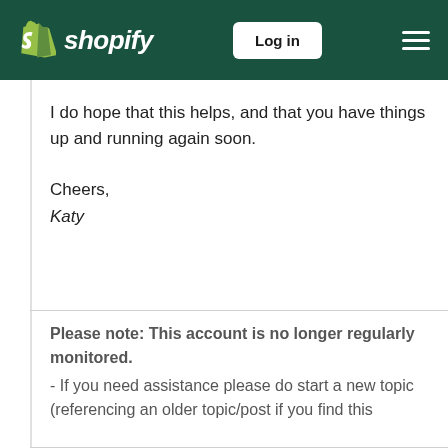[Figure (logo): Shopify logo with shopping bag icon and wordmark in white on dark green background, plus Log in button and hamburger menu]
I do hope that this helps, and that you have things up and running again soon.
Cheers,
Katy
Please note: This account is no longer regularly monitored.
 - If you need assistance please do start a new topic (referencing an older topic/post if you find this